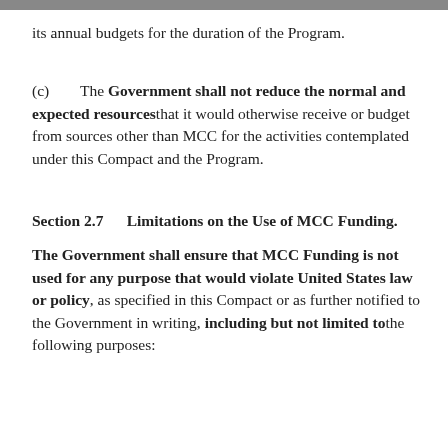its annual budgets for the duration of the Program.
(c)    The Government shall not reduce the normal and expected resources that it would otherwise receive or budget from sources other than MCC for the activities contemplated under this Compact and the Program.
Section 2.7    Limitations on the Use of MCC Funding.
The Government shall ensure that MCC Funding is not used for any purpose that would violate United States law or policy, as specified in this Compact or as further notified to the Government in writing, including but not limited to the following purposes: